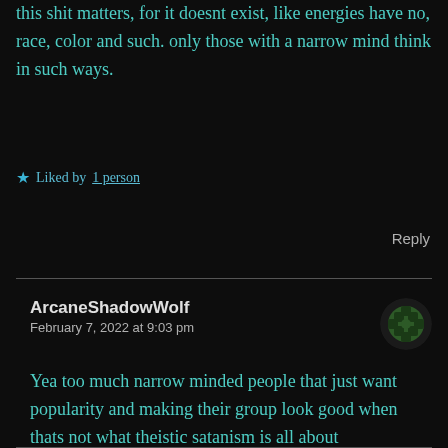this shit matters, for it doesnt exist, like energies have no, race, color and such. only those with a narrow mind think in such ways.
Liked by 1 person
Reply
ArcaneShadowWolf
February 7, 2022 at 9:03 pm
Yea too much narrow minded people that just want popularity and making their group look good when thats not what theistic satanism is all about
Liked by 1 person